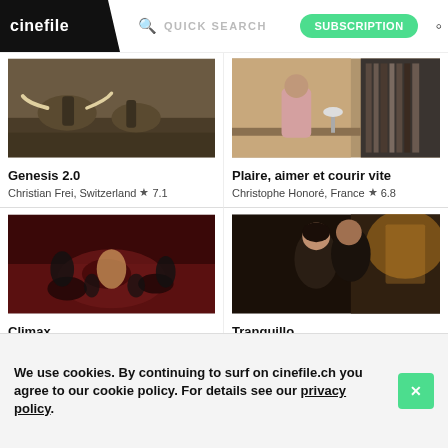cinefile | QUICK SEARCH | SUBSCRIPTION
[Figure (photo): Film still from Genesis 2.0 – figures in muddy water with tusks/elephant]
Genesis 2.0
Christian Frei, Switzerland ★7.1
[Figure (photo): Film still from Plaire, aimer et courir vite – person at desk with bookshelf]
Plaire, aimer et courir vite
Christophe Honoré, France ★6.8
[Figure (photo): Film still from Climax – group of dancers on floor in red-lit scene]
Climax
Gaspar Noé, France ★6.9
[Figure (photo): Film still from Tranquillo – two people close together, backlit]
Tranquillo
Jonathan Jäggi, Switzerland ★6.1
We use cookies. By continuing to surf on cinefile.ch you agree to our cookie policy. For details see our privacy policy.